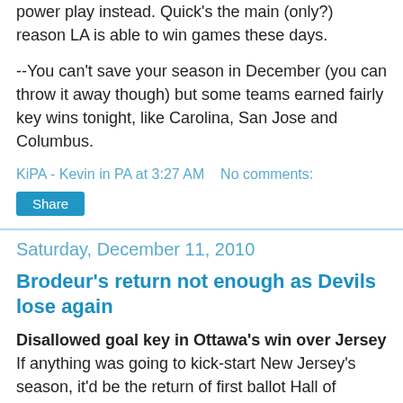power play instead. Quick's the main (only?) reason LA is able to win games these days.
--You can't save your season in December (you can throw it away though) but some teams earned fairly key wins tonight, like Carolina, San Jose and Columbus.
KiPA - Kevin in PA at 3:27 AM    No comments:
Share
Saturday, December 11, 2010
Brodeur's return not enough as Devils lose again
Disallowed goal key in Ottawa's win over Jersey
If anything was going to kick-start New Jersey's season, it'd be the return of first ballot Hall of Famer, all-world Martin Brodeur between the pipes, right? Well, not exactly. Not yet, anyway.
Two points by Erik Karlsson and a disallowed Devils goal